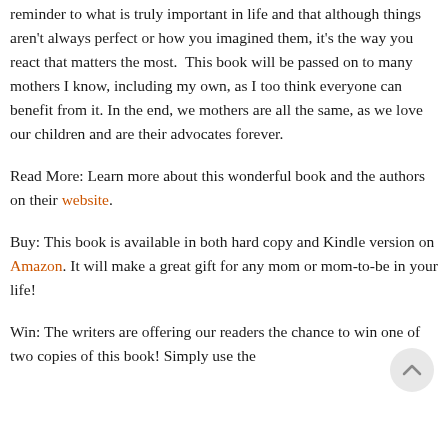reminder to what is truly important in life and that although things aren't always perfect or how you imagined them, it's the way you react that matters the most.  This book will be passed on to many mothers I know, including my own, as I too think everyone can benefit from it. In the end, we mothers are all the same, as we love our children and are their advocates forever.
Read More: Learn more about this wonderful book and the authors on their website.
Buy: This book is available in both hard copy and Kindle version on Amazon. It will make a great gift for any mom or mom-to-be in your life!
Win: The writers are offering our readers the chance to win one of two copies of this book! Simply use the